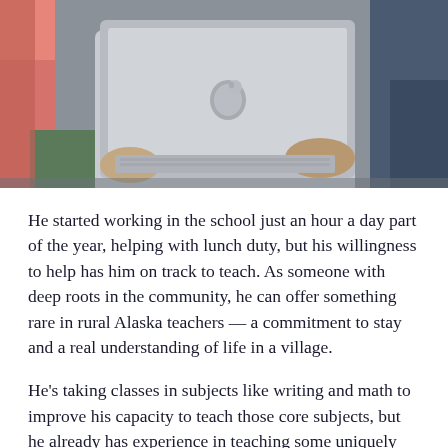[Figure (photo): Photo of people gathered around an open Apple MacBook laptop, viewed from above/side angle. Hands visible on keyboard, person in pink shirt on left, person in jeans on right.]
He started working in the school just an hour a day part of the year, helping with lunch duty, but his willingness to help has him on track to teach. As someone with deep roots in the community, he can offer something rare in rural Alaska teachers — a commitment to stay and a real understanding of life in a village.
He's taking classes in subjects like writing and math to improve his capacity to teach those core subjects, but he already has experience in teaching some uniquely Alaskan skills like wilderness survival and setting fish traps. He's also excited about bringing Elders into the